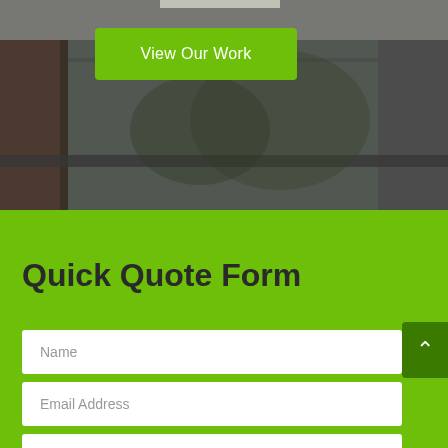[Figure (photo): Background photo showing architectural/window installation scene with dark tones, semi-transparent overlay]
View Our Work
Quick Quote Form
Name
Email Address
Preferred Phone Number
I am interested in